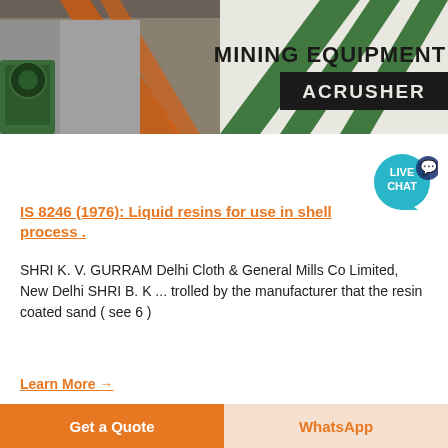[Figure (photo): Industrial mining equipment warehouse/facility interior showing orange structural beams and green machinery. Right side shows a sign reading 'MINING EQUIPMENT ACRUSHER' with green diagonal stripes.]
IS 8246 (1976): Liquid resins for use in shell process .
SHRI K. V. GURRAM Delhi Cloth & General Mills Co Limited, New Delhi SHRI B. K ... trolled by the manufacturer that the resin coated sand ( see 6 )
Learn More →
[Figure (photo): Aerial/elevated view of an outdoor industrial crushing/mining plant site with cone crusher, conveyor belts, and buildings in the background surrounded by trees.]
Get a Quote
WhatsApp